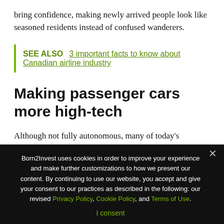bring confidence, making newly arrived people look like seasoned residents instead of confused wanderers.
SEE ALSO  3 important facts to know about Canadian airline industry
Making passenger cars more high-tech
Although not fully autonomous, many of today's passenger vehicles have features that activate by themselves to keep drivers safer. Some initiate the brakes if the driver doesn't
Born2Invest uses cookies in order to improve your experience and make further customizations to how we present our content. By continuing to use our website, you accept and give your consent to our practices as described in the following: our revised Privacy Policy, Cookie Policy, and Terms of Use.
I consent